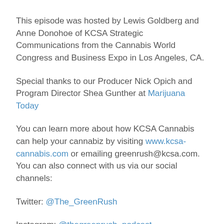This episode was hosted by Lewis Goldberg and Anne Donohoe of KCSA Strategic Communications from the Cannabis World Congress and Business Expo in Los Angeles, CA.
Special thanks to our Producer Nick Opich and Program Director Shea Gunther at Marijuana Today
You can learn more about how KCSA Cannabis can help your cannabiz by visiting www.kcsa-cannabis.com or emailing greenrush@kcsa.com. You can also connect with us via our social channels:
Twitter: @The_GreenRush
Instagram: @thegreenrush_podcast
LinkedIn:
https://www.linkedin.com/company/thegreenrushpodcast/